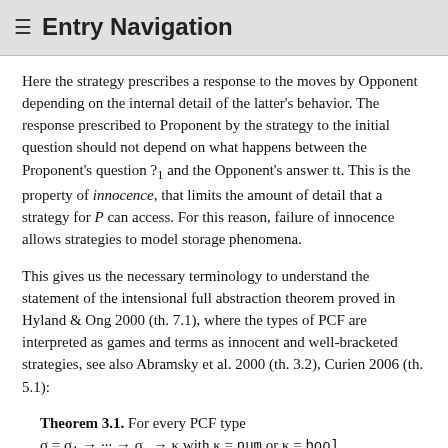≡ Entry Navigation
Here the strategy prescribes a response to the moves by Opponent depending on the internal detail of the latter's behavior. The response prescribed to Proponent by the strategy to the initial question should not depend on what happens between the Proponent's question ?₁ and the Opponent's answer tt. This is the property of innocence, that limits the amount of detail that a strategy for P can access. For this reason, failure of innocence allows strategies to model storage phenomena.
This gives us the necessary terminology to understand the statement of the intensional full abstraction theorem proved in Hyland & Ong 2000 (th. 7.1), where the types of PCF are interpreted as games and terms as innocent and well-bracketed strategies, see also Abramsky et al. 2000 (th. 3.2), Curien 2006 (th. 5.1):
Theorem 3.1. For every PCF type σ = σ₁ → ⋯ → σₙ → κ with κ = num or κ = bool, every (compact) innocent and well-bracketed strategy